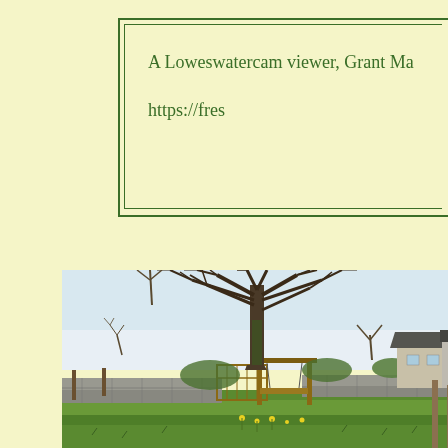A Loweswatercam viewer, Grant Ma
https://fres
[Figure (photo): Garden scene with a large bare tree in the background, a wooden garden swing bench in the middle ground, dry stone walls, green lawn in the foreground with daffodils, and a house visible to the right.]